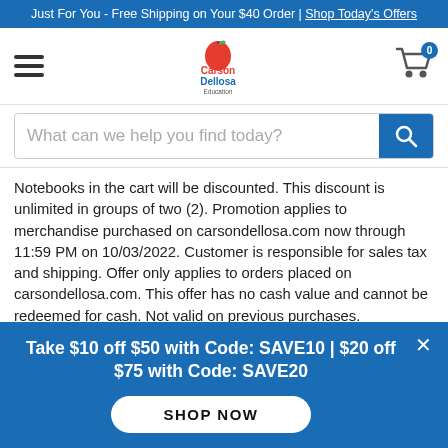Just For You - Free Shipping on Your $40 Order | Shop Today's Offers
[Figure (logo): Carson Dellosa Education logo with apple graphic]
Notebooks in the cart will be discounted. This discount is unlimited in groups of two (2). Promotion applies to merchandise purchased on carsondellosa.com now through 11:59 PM on 10/03/2022. Customer is responsible for sales tax and shipping. Offer only applies to orders placed on carsondellosa.com. This offer has no cash value and cannot be redeemed for cash. Not valid on previous purchases.
*Limited Time Offer: Receive 20% off a purchase of 4 or 5 Charts or
Take $10 off $50 with Code: SAVE10 | $20 off $75 with Code: SAVE20
SHOP NOW